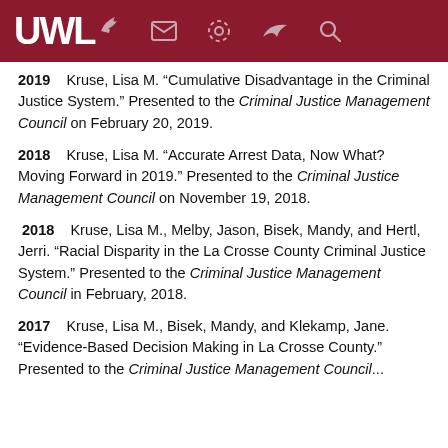UWL [logo with icons]
2019   Kruse, Lisa M. “Cumulative Disadvantage in the Criminal Justice System.” Presented to the Criminal Justice Management Council on February 20, 2019.
2018   Kruse, Lisa M. “Accurate Arrest Data, Now What? Moving Forward in 2019.” Presented to the Criminal Justice Management Council on November 19, 2018.
2018   Kruse, Lisa M., Melby, Jason, Bisek, Mandy, and Hertl, Jerri. “Racial Disparity in the La Crosse County Criminal Justice System.” Presented to the Criminal Justice Management Council in February, 2018.
2017   Kruse, Lisa M., Bisek, Mandy, and Klekamp, Jane. “Evidence-Based Decision Making in La Crosse County.” Presented to the Criminal Justice Management Council...